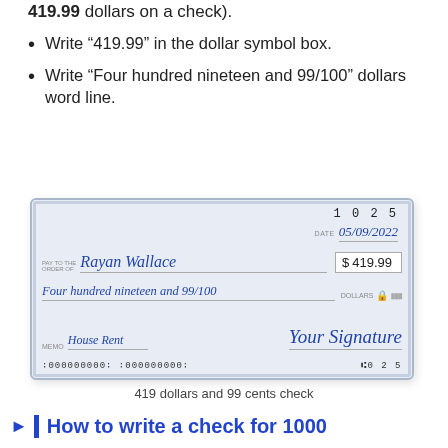419.99 dollars on a check).
Write “419.99” in the dollar symbol box.
Write “Four hundred nineteen and 99/100” dollars word line.
[Figure (illustration): Image of a filled-out check made out to Rayan Wallace for $419.99, dated 05/09/2022, check number 1025, memo: House Rent, word line: Four hundred nineteen and 99/100, signed Your Signature, with MICR encoding line at the bottom.]
419 dollars and 99 cents check
How to write a check for 1000